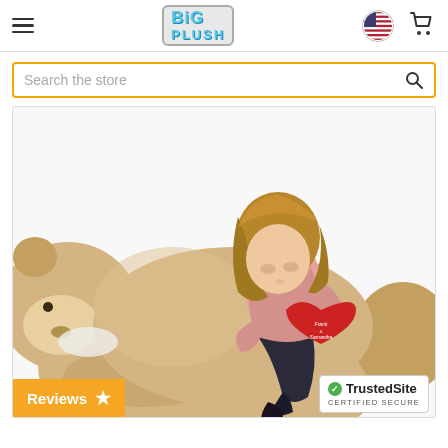Big Plush store header with hamburger menu, logo, flag, and cart
Search the store
[Figure (photo): A girl sitting on top of a large stuffed teddy bear, holding a red heart pillow with text on it. The teddy bear is tan/cream colored and very large.]
Reviews ★
TrustedSite CERTIFIED SECURE